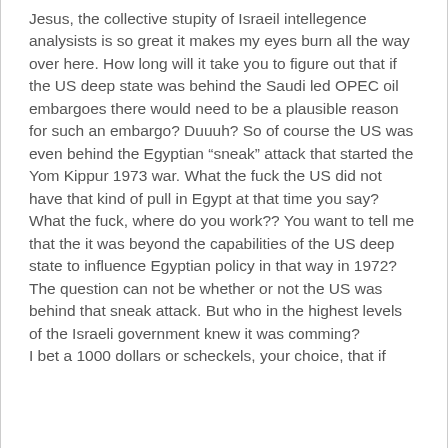Jesus, the collective stupity of Israeil intellegence analysists is so great it makes my eyes burn all the way over here. How long will it take you to figure out that if the US deep state was behind the Saudi led OPEC oil embargoes there would need to be a plausible reason for such an embargo? Duuuh? So of course the US was even behind the Egyptian “sneak” attack that started the Yom Kippur 1973 war. What the fuck the US did not have that kind of pull in Egypt at that time you say? What the fuck, where do you work?? You want to tell me that the it was beyond the capabilities of the US deep state to influence Egyptian policy in that way in 1972? The question can not be whether or not the US was behind that sneak attack. But who in the highest levels of the Israeli government knew it was comming?
I bet a 1000 dollars or scheckels, your choice, that if